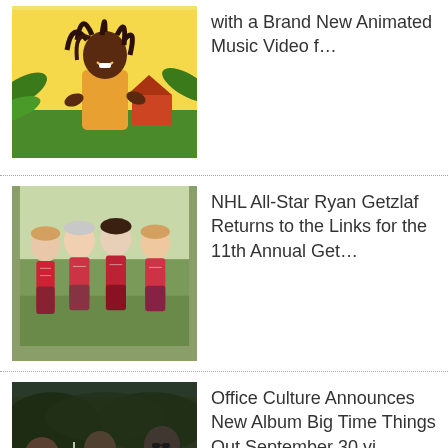[Figure (illustration): Animated illustration of a reggae musician with dreadlocks in an orange shirt against a yellow/green tropical background]
with a Brand New Animated Music Video f…
[Figure (photo): Photo of four women in plaid outfits standing on a golf course]
NHL All-Star Ryan Getzlaf Returns to the Links for the 11th Annual Get…
[Figure (photo): Photo of a band with three men outdoors, one with a bright light effect]
Office Culture Announces New Album Big Time Things Out September 30 vi…